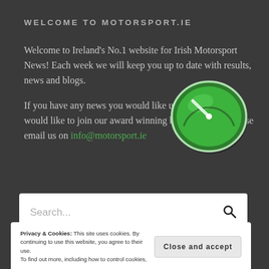WELCOME TO MOTORSPORT.IE
Welcome to Ireland's No.1 website for Irish Motorsport News! Each week we will keep you up to date with results, news and blogs.
If you have any news you would like us to feature, or you would like to join our award winning blogging team, please email us on info@motorsport.ie
[Figure (logo): Green oval speedometer logo with white needle, for motorsport.ie]
Search...
Privacy & Cookies: This site uses cookies. By continuing to use this website, you agree to their use.
To find out more, including how to control cookies,
Close and accept